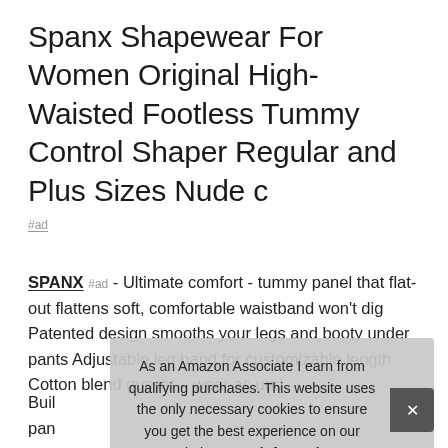Spanx Shapewear For Women Original High-Waisted Footless Tummy Control Shaper Regular and Plus Sizes Nude c
#ad
SPANX #ad - Ultimate comfort - tummy panel that flat-out flattens soft, comfortable waistband won't dig Patented design smooths your legs and booty under pants Adjustable leg band for customizable length Cotton blend gusset – wear as und
As an Amazon Associate I earn from qualifying purchases. This website uses the only necessary cookies to ensure you get the best experience on our website. More information
Buil pan proc